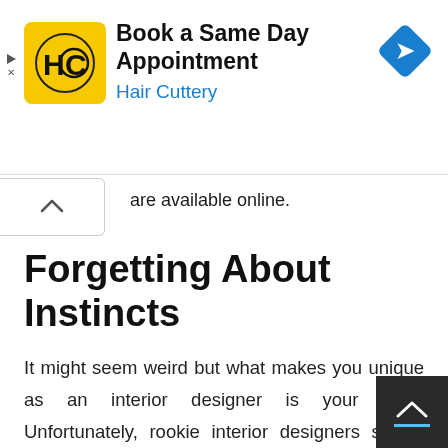[Figure (screenshot): Advertisement banner for Hair Cuttery showing logo, 'Book a Same Day Appointment' headline, 'Hair Cuttery' subtext in blue, and a blue navigation diamond icon on the right. Ad controls (play/close) visible on left edge.]
are available online.
Forgetting About Instincts
It might seem weird but what makes you unique as an interior designer is your GUT. Unfortunately, rookie interior designers simply end up using something that they basically hate because of the fact that someone else does it or because this is the current